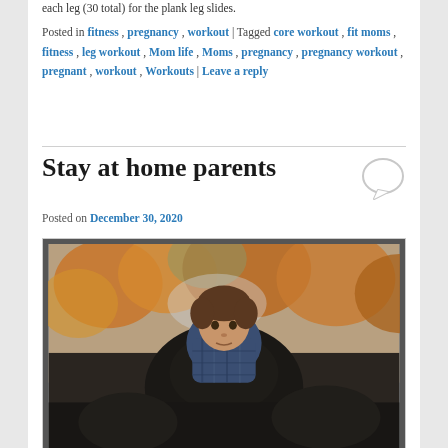each leg (30 total) for the plank leg slides.
Posted in fitness, pregnancy, workout | Tagged core workout, fit moms, fitness, leg workout, Mom life, Moms, pregnancy, pregnancy workout, pregnant, workout, Workouts | Leave a reply
Stay at home parents
Posted on December 30, 2020
[Figure (photo): A young child sitting on an adult's shoulders outdoors, with autumn trees with orange leaves in the background. The child is wearing a blue plaid shirt and looking at the camera.]